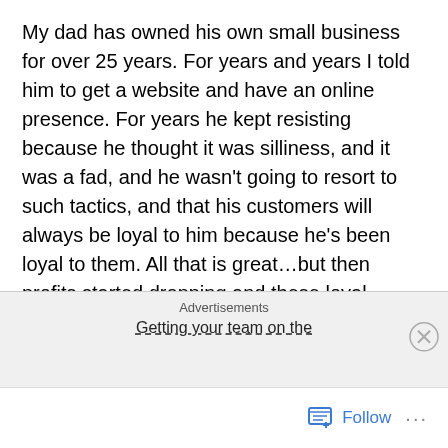My dad has owned his own small business for over 25 years. For years and years I told him to get a website and have an online presence. For years he kept resisting because he thought it was silliness, and it was a fad, and he wasn't going to resort to such tactics, and that his customers will always be loyal to him because he's been loyal to them. All that is great…but then profits started dropping and these loyal customers found other, more convenient companies to do business with. After a lot of thinking and talking to other businesses, my dad finally got a website, an email address, and an automated ordering system. Yes it was hard for him, and he's still confused by the technology (he thinks his email address is his home
Advertisements
Getting your team on the
Follow ···